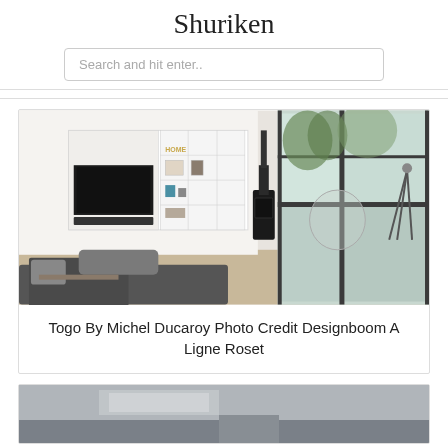Shuriken
Search and hit enter..
[Figure (photo): Interior living room photo showing a modern apartment with white built-in shelving, a black wood-burning stove, transparent bubble chair, and large steel-framed windows with a view of trees. A person is relaxing on a dark sofa in the foreground.]
Togo By Michel Ducaroy Photo Credit Designboom A Ligne Roset
[Figure (photo): Partially visible interior room photo at the bottom of the page, showing a grey toned room.]